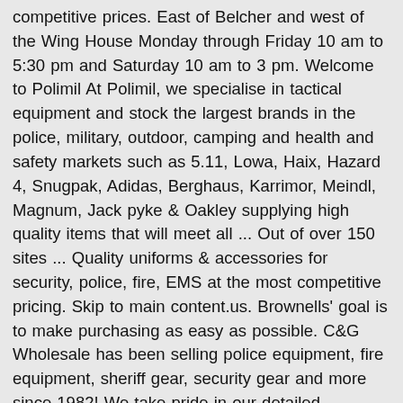competitive prices. East of Belcher and west of the Wing House Monday through Friday 10 am to 5:30 pm and Saturday 10 am to 3 pm. Welcome to Polimil At Polimil, we specialise in tactical equipment and stock the largest brands in the police, military, outdoor, camping and health and safety markets such as 5.11, Lowa, Haix, Hazard 4, Snugpak, Adidas, Berghaus, Karrimor, Meindl, Magnum, Jack pyke & Oakley supplying high quality items that will meet all ... Out of over 150 sites ... Quality uniforms & accessories for security, police, fire, EMS at the most competitive pricing. Skip to main content.us. Brownells' goal is to make purchasing as easy as possible. C&G Wholesale has been selling police equipment, fire equipment, sheriff gear, security gear and more since 1982! We take pride in our detailed craftsmanship, and our online store and showroom offer top quality branded products. Thus, LAPG was born. Blauer is the premier manufacturer and online store for police, law enforcement, firefighter, and EMS / EMT uniforms, outerwear, and other tactical gear for public safety professionals. Been selling Police equipment - helps you find the right local